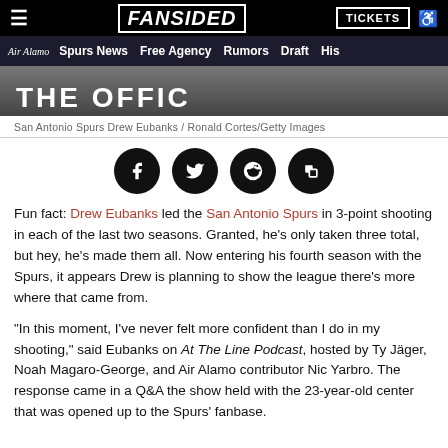FANSIDED — Spurs News | Free Agency | Rumors | Draft | His
[Figure (photo): Partial image of San Antonio Spurs Drew Eubanks with 'THE OFFIC...' text visible in background]
San Antonio Spurs Drew Eubanks / Ronald Cortes/Getty Images
[Figure (infographic): Four social share buttons: Facebook, Twitter, Reddit, Copy/Share]
Fun fact: Drew Eubanks led the San Antonio Spurs in 3-point shooting in each of the last two seasons. Granted, he's only taken three total, but hey, he's made them all. Now entering his fourth season with the Spurs, it appears Drew is planning to show the league there's more where that came from.
"In this moment, I've never felt more confident than I do in my shooting," said Eubanks on At The Line Podcast, hosted by Ty Jäger, Noah Magaro-George, and Air Alamo contributor Nic Yarbro. The response came in a Q&A the show held with the 23-year-old center that was opened up to the Spurs' fanbase.